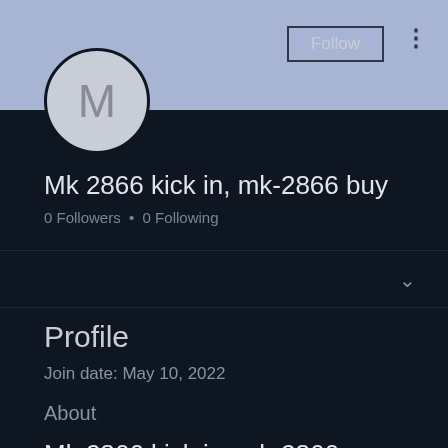[Figure (illustration): User avatar circle with letter M on light purple banner background]
Follow
Mk 2866 kick in, mk-2866 buy
0 Followers • 0 Following
Profile
Join date: May 10, 2022
About
Mk 2866 kick in, mk-2866